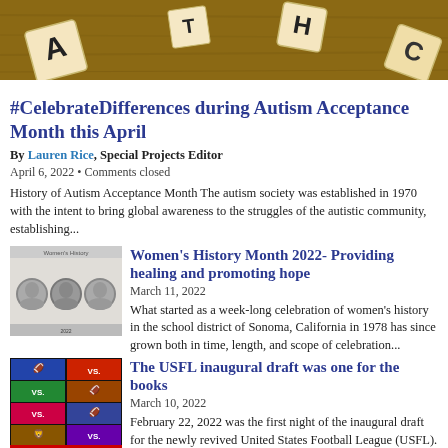[Figure (photo): Close-up photo of wooden Scrabble letter tiles on a wooden surface, showing letters A, H, and others]
#CelebrateDifferences during Autism Acceptance Month this April
By Lauren Rice, Special Projects Editor
April 6, 2022 • Comments closed
History of Autism Acceptance Month The autism society was established in 1970 with the intent to bring global awareness to the struggles of the autistic community, establishing...
[Figure (photo): Thumbnail image showing historical black and white portrait photographs of women, appears to be a Women's History Month related image]
Women's History Month 2022- Providing healing and promoting hope
March 11, 2022
What started as a week-long celebration of women's history in the school district of Sonoma, California in 1978 has since grown both in time, length, and scope of celebration...
[Figure (photo): Thumbnail image showing USFL team logos arranged in a grid with VS. text between them, colorful sports graphic]
The USFL inaugural draft was one for the books
March 10, 2022
February 22, 2022 was the first night of the inaugural draft for the newly revived United States Football League (USFL). The USFL is made up of 8 teams and broke up between...